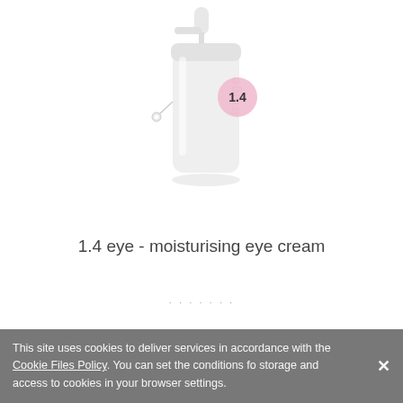[Figure (photo): White pump bottle with 'fridge' branding and a pink circular label showing '1.4', with a small white earphone-like attachment on the side]
1.4 eye - moisturising eye cream
This site uses cookies to deliver services in accordance with the Cookie Files Policy. You can set the conditions for storage and access to cookies in your browser settings.